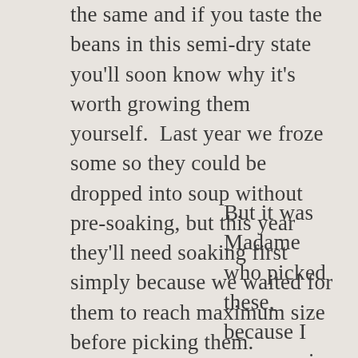the same and if you taste the beans in this semi-dry state you'll soon know why it's worth growing them yourself.  Last year we froze some so they could be dropped into soup without pre-soaking, but this year they'll need soaking first simply because we waited for them to reach maximum size before picking them.
But it was Madame who picked these, because I was over in Bristol with two of the